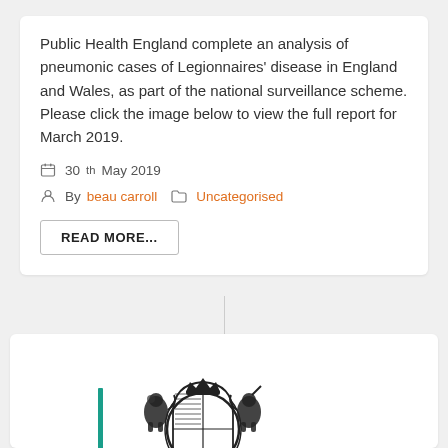Public Health England complete an analysis of pneumonic cases of Legionnaires' disease in England and Wales, as part of the national surveillance scheme. Please click the image below to view the full report for March 2019.
30th May 2019
By beau carroll   Uncategorised
READ MORE...
[Figure (logo): UK Government Royal Coat of Arms crest, black on white, with a vertical teal bar to the left]